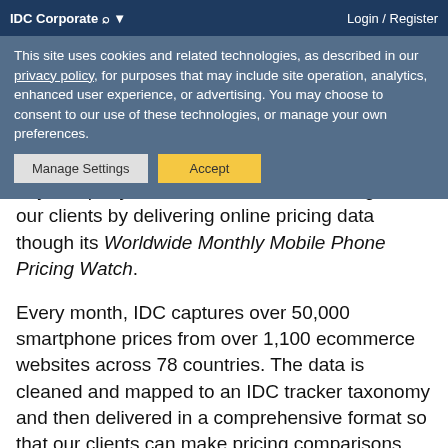IDC Corporate   Login / Register
This site uses cookies and related technologies, as described in our privacy policy, for purposes that may include site operation, analytics, enhanced user experience, or advertising. You may choose to consent to our use of these technologies, or manage your own preferences.
Every quarter, thousands of different mobile phone models are sold by over 300 vendors across the globe. Not surprisingly, keeping track of competitive mobile phone prices by model can be a challenging and expensive proposition for any company. IDC addresses this challenge for our clients by delivering online pricing data though its Worldwide Monthly Mobile Phone Pricing Watch.
Every month, IDC captures over 50,000 smartphone prices from over 1,100 ecommerce websites across 78 countries. The data is cleaned and mapped to an IDC tracker taxonomy and then delivered in a comprehensive format so that our clients can make pricing comparisons and management decisions with